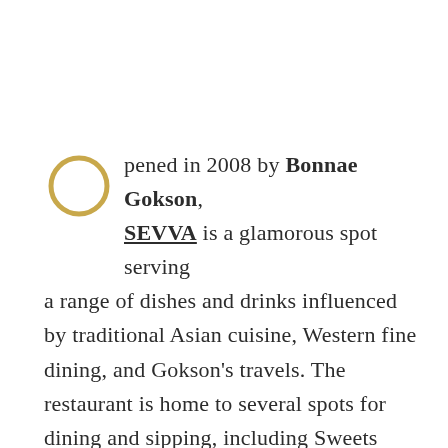Opened in 2008 by Bonnae Gokson, SEVVA is a glamorous spot serving a range of dishes and drinks influenced by traditional Asian cuisine, Western fine dining, and Gokson's travels. The restaurant is home to several spots for dining and sipping, including Sweets Corner (outfitted with pink walls and a venini chandelier from the 1950s), the Taste Bar (a lounge with an indoor vertical garden), and a wrap-around terrace—the perfect spot for cocktails and views of the